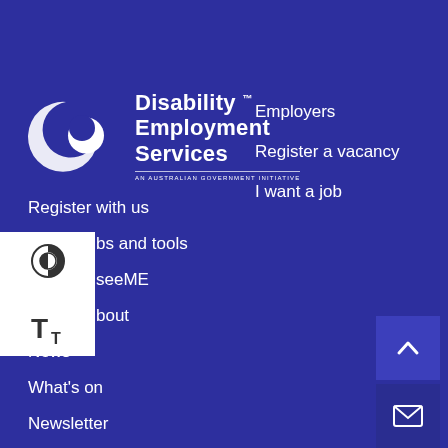[Figure (logo): Disability Employment Services logo with crescent moon/circle graphic and text 'Disability Employment Services TM - An Australian Government Initiative']
Employers
Register a vacancy
I want a job
Register with us
bs and tools
seeME
bout
News
What's on
Newsletter
Contact